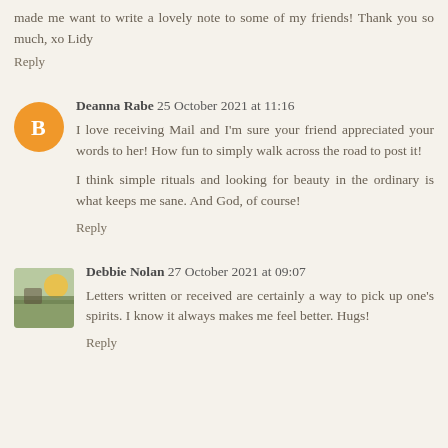made me want to write a lovely note to some of my friends! Thank you so much, xo Lidy
Reply
Deanna Rabe 25 October 2021 at 11:16
I love receiving Mail and I'm sure your friend appreciated your words to her! How fun to simply walk across the road to post it!

I think simple rituals and looking for beauty in the ordinary is what keeps me sane. And God, of course!
Reply
Debbie Nolan 27 October 2021 at 09:07
Letters written or received are certainly a way to pick up one's spirits. I know it always makes me feel better. Hugs!
Reply